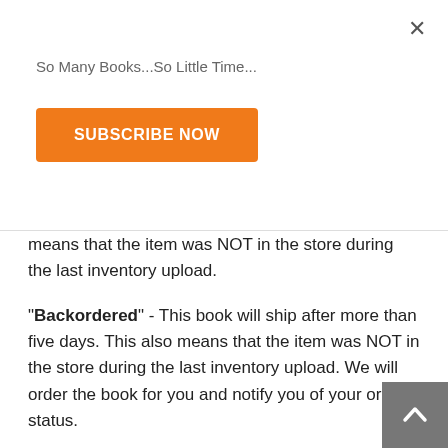So Many Books...So Little Time...
SUBSCRIBE NOW
means that the item was NOT in the store during the last inventory upload.
"Backordered" - This book will ship after more than five days. This also means that the item was NOT in the store during the last inventory upload. We will order the book for you and notify you of your order status.
"Coming Soon—Pre-Order Now" - We can pre-order this book for you. If you order it now, we will notify you - or ship it to you - when we receive our shipment from the pub. We will let you know if there will be a delay in publication.